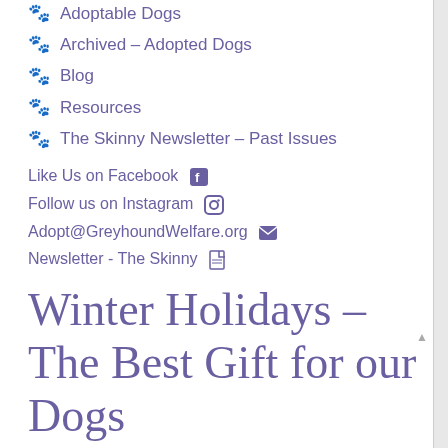Adoptable Dogs
Archived – Adopted Dogs
Blog
Resources
The Skinny Newsletter – Past Issues
Like Us on Facebook
Follow us on Instagram
Adopt@GreyhoundWelfare.org
Newsletter - The Skinny
Winter Holidays – The Best Gift for our Dogs
The Best Gifts for our Dogs
As wonderful as this season can be for the humans, it can be a tough and stressful time for our dogs. Routines